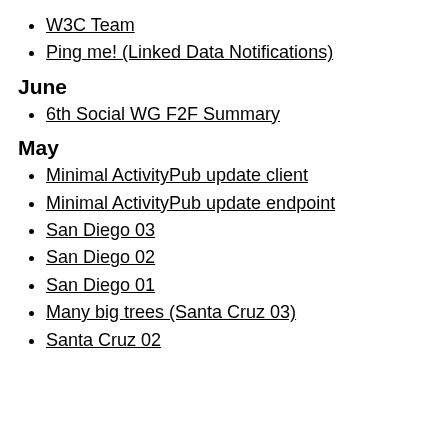W3C Team
Ping me! (Linked Data Notifications)
June
6th Social WG F2F Summary
May
Minimal ActivityPub update client
Minimal ActivityPub update endpoint
San Diego 03
San Diego 02
San Diego 01
Many big trees (Santa Cruz 03)
Santa Cruz 02